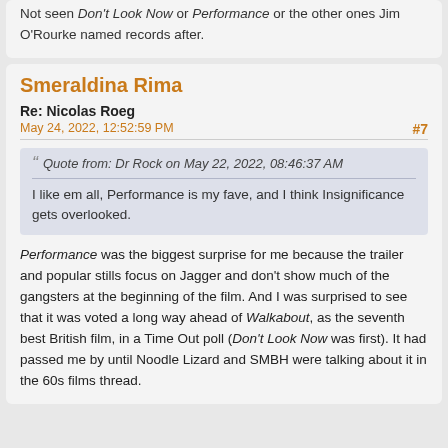Not seen Don't Look Now or Performance or the other ones Jim O'Rourke named records after.
Smeraldina Rima
Re: Nicolas Roeg
May 24, 2022, 12:52:59 PM
#7
Quote from: Dr Rock on May 22, 2022, 08:46:37 AM
I like em all, Performance is my fave, and I think Insignificance gets overlooked.
Performance was the biggest surprise for me because the trailer and popular stills focus on Jagger and don't show much of the gangsters at the beginning of the film. And I was surprised to see that it was voted a long way ahead of Walkabout, as the seventh best British film, in a Time Out poll (Don't Look Now was first). It had passed me by until Noodle Lizard and SMBH were talking about it in the 60s films thread.